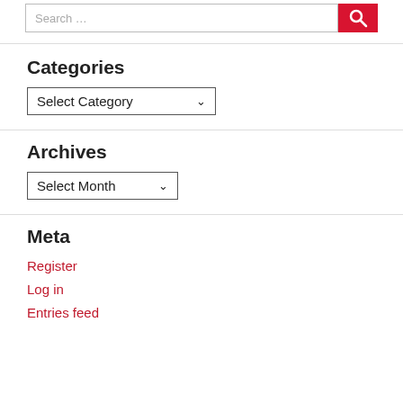[Figure (other): Search bar with text input and red search button with magnifying glass icon]
Categories
[Figure (other): Dropdown selector showing 'Select Category']
Archives
[Figure (other): Dropdown selector showing 'Select Month']
Meta
Register
Log in
Entries feed